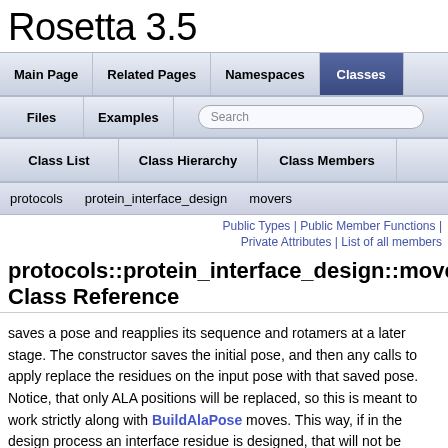Rosetta 3.5
Main Page | Related Pages | Namespaces | Classes | Files | Examples | Search | Class List | Class Hierarchy | Class Members
protocols  protein_interface_design  movers
Public Types | Public Member Functions | Private Attributes | List of all members
protocols::protein_interface_design::movers Class Reference
saves a pose and reapplies its sequence and rotamers at a later stage. The constructor saves the initial pose, and then any calls to apply replace the residues on the input pose with that saved pose. Notice, that only ALA positions will be replaced, so this is meant to work strictly along with BuildAlaPose moves. This way, if in the design process an interface residue is designed, that will not be